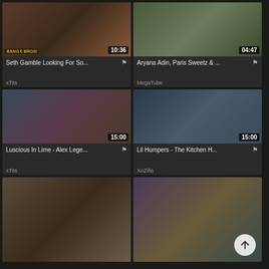[Figure (screenshot): Video thumbnail 1 with duration 10:36, BangBros watermark]
Seth Gamble Looking For So...
xTits
[Figure (screenshot): Video thumbnail 2 with duration 04:47]
Aryana Adin, Paris Sweetz & ...
MegaTube
[Figure (screenshot): Video thumbnail 3 with duration 15:00]
Luscious In Lime - Alex Lege...
xTits
[Figure (screenshot): Video thumbnail 4 with duration 15:00]
Lil Humpers - The Kitchen H...
XoZilla
[Figure (screenshot): Video thumbnail 5 (bottom left), no duration visible]
[Figure (screenshot): Video thumbnail 6 (bottom right) with scroll-up arrow button]